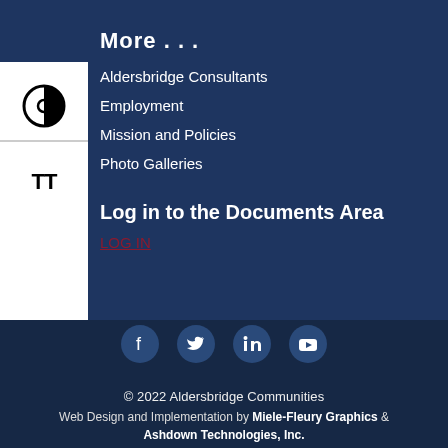More . . .
Aldersbridge Consultants
Employment
Mission and Policies
Photo Galleries
Log in to the Documents Area
LOG IN
[Figure (infographic): Social media icons: Facebook, Twitter, LinkedIn, YouTube]
© 2022 Aldersbridge Communities
Web Design and Implementation by Miele-Fleury Graphics & Ashdown Technologies, Inc.